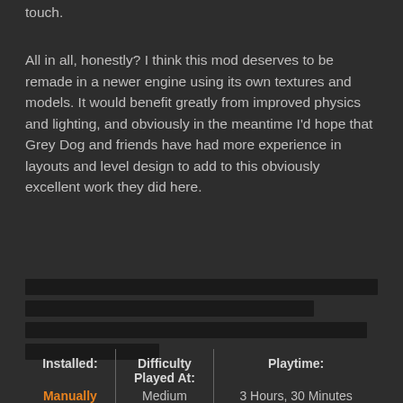touch.
All in all, honestly? I think this mod deserves to be remade in a newer engine using its own textures and models. It would benefit greatly from improved physics and lighting, and obviously in the meantime I'd hope that Grey Dog and friends have had more experience in layouts and level design to add to this obviously excellent work they did here.
[Figure (other): Four black horizontal bars of varying widths on a dark background, appearing to be redacted or censored text lines]
| Installed: | Difficulty Played At: | Playtime: |
| --- | --- | --- |
| Manually | Medium | 3 Hours, 30 Minutes |